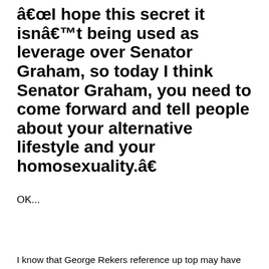â€œI hope this secret it isnâ€™t being used as leverage over Senator Graham, so today I think Senator Graham, you need to come forward and tell people about your alternative lifestyle and your homosexuality.â€
OK...
I know that George Rekers reference up top may have